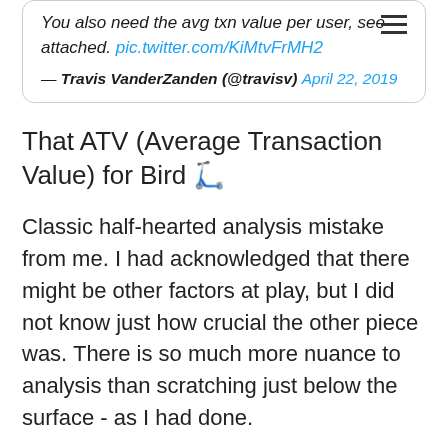[Figure (screenshot): Tweet from Travis VanderZanden (@travisv) dated April 22, 2019, saying 'You also need the avg txn value per user, see attached. pic.twitter.com/KiMtvFrMH2' with a hamburger menu icon in the top right.]
That ATV (Average Transaction Value) for Bird 🛴
Classic half-hearted analysis mistake from me. I had acknowledged that there might be other factors at play, but I did not know just how crucial the other piece was. There is so much more nuance to analysis than scratching just below the surface - as I had done.
I take it as a learning opportunity — of where I am going with some broader business knowledge.